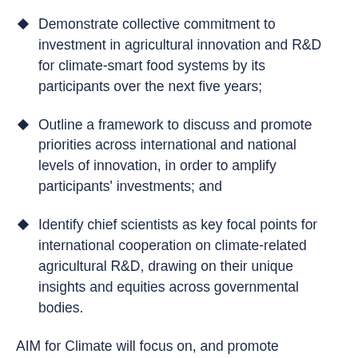Demonstrate collective commitment to investment in agricultural innovation and R&D for climate-smart food systems by its participants over the next five years;
Outline a framework to discuss and promote priorities across international and national levels of innovation, in order to amplify participants' investments; and
Identify chief scientists as key focal points for international cooperation on climate-related agricultural R&D, drawing on their unique insights and equities across governmental bodies.
AIM for Climate will focus on, and promote coordination between, three main investment channels: